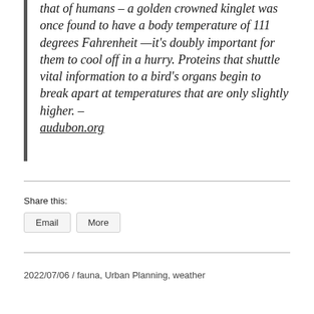that of humans – a golden crowned kinglet was once found to have a body temperature of 111 degrees Fahrenheit —it's doubly important for them to cool off in a hurry. Proteins that shuttle vital information to a bird's organs begin to break apart at temperatures that are only slightly higher. – audubon.org
Share this:
Email  More
2022/07/06 / fauna, Urban Planning, weather